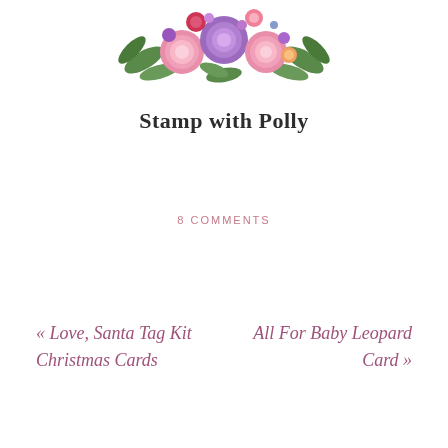[Figure (illustration): Watercolor floral bouquet arrangement with pink roses, purple flowers, and green leaves centered at the top of the page]
Stamp with Polly
8 COMMENTS
« Love, Santa Tag Kit Christmas Cards
All For Baby Leopard Card »